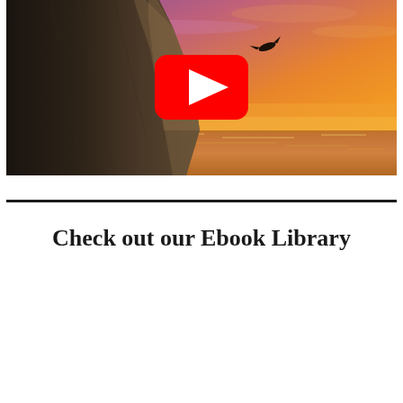[Figure (photo): A dramatic photo of a rocky cliff face on the left with a vibrant orange and purple sunset sky on the right, and a bird or person diving off the cliff. A YouTube play button (red rounded rectangle with white triangle) is overlaid in the center of the image.]
Check out our Ebook Library